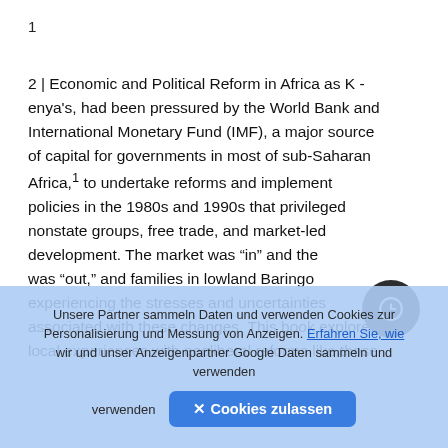1
2 | Economic and Political Reform in Africa as Kenya's, had been pressured by the World Bank and International Monetary Fund (IMF), a major source of capital for governments in most of sub-Saharan Africa,1 to undertake reforms and implement policies in the 1980s and 1990s that privileged nonstate groups, free trade, and market-led development. The market was “in” and the state was “out,” and families in lowland Baringo were experiencing the stresses and uncertainties associated with these changes. This book explores local experiences with neoliberal reforms like those
Unsere Partner sammeln Daten und verwenden Cookies zur Personalisierung und Messung von Anzeigen. Erfahren Sie, wie wir und unser Anzeigenpartner Google Daten sammeln und verwenden
✕ Cookies zulassen